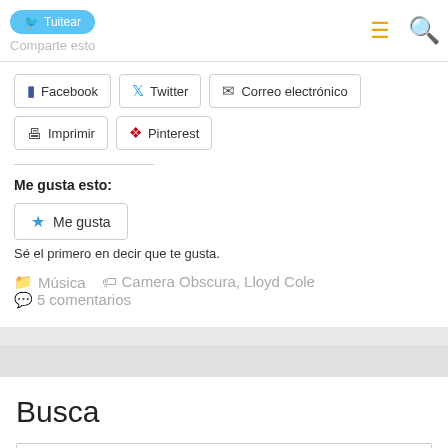Tuitear / Comparte esto
Facebook
Twitter
Correo electrónico
Imprimir
Pinterest
Me gusta esto:
Me gusta
Sé el primero en decir que te gusta.
Música   Camera Obscura, Lloyd Cole   5 comentarios
Busca